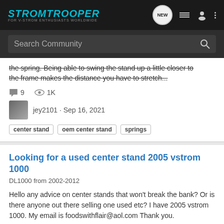STROMTROOPER FOR V-STROM ENTHUSIASTS WORLDWIDE
Search Community
the spring. Being able to swing the stand up a little closer to the frame makes the distance you have to stretch...
9 comments · 1K views · jey2101 · Sep 16, 2021
center stand · oem center stand · springs
Looking for a used center stand 2005 vstrom 1000
DL1000 from 2002-2012
Hello any advice on center stands that won't break the bank? Or is there anyone out there selling one used etc? I have 2005 vstrom 1000. My email is foodswithflair@aol.com Thank you.
1 comment · 724 views